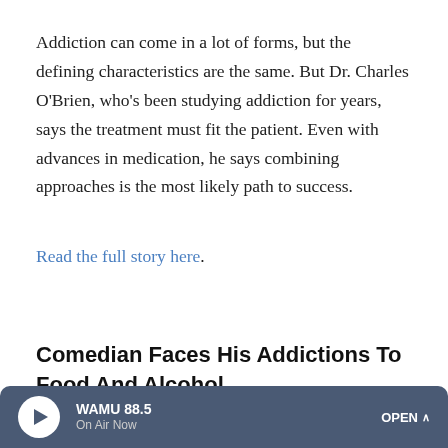Addiction can come in a lot of forms, but the defining characteristics are the same. But Dr. Charles O'Brien, who's been studying addiction for years, says the treatment must fit the patient. Even with advances in medication, he says combining approaches is the most likely path to success.
Read the full story here.
Comedian Faces His Addictions To Food And Alcohol
[Figure (photo): Partial view of a person's face/head, photo cropped at bottom of page]
WAMU 88.5 On Air Now OPEN ^